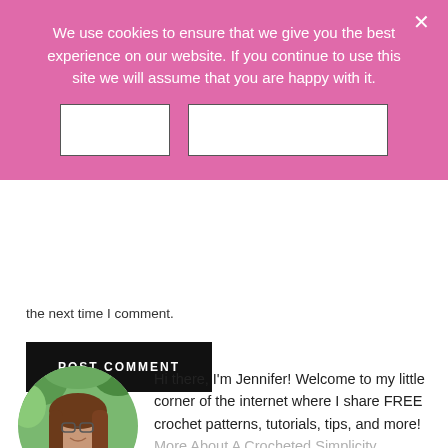We use cookies to ensure that we give you the best experience on our website. If you continue to use this site we will assume that you are happy with it.
[Figure (screenshot): Cookie consent banner with two white buttons (OK and a wider button) on a pink background, with an X close button in the top right.]
the next time I comment.
POST COMMENT
[Figure (photo): Circular portrait photo of Jennifer, a woman with long brown hair and glasses, smiling, wearing a blue top with a necklace, outdoors with green foliage in background.]
Hi there, I'm Jennifer! Welcome to my little corner of the internet where I share FREE crochet patterns, tutorials, tips, and more! More About A Crocheted Simplicity